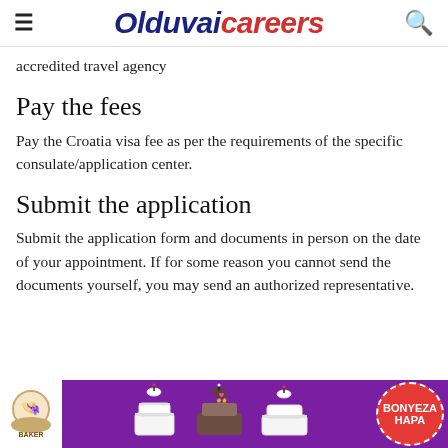Olduvaicareers
accredited travel agency
Pay the fees
Pay the Croatia visa fee as per the requirements of the specific consulate/application center.
Submit the application
Submit the application form and documents in person on the date of your appointment. If for some reason you cannot send the documents yourself, you may send an authorized representative.
[Figure (photo): Advertisement banner with purple background showing wedding cakes and a red circular button with text BONYEZA HAPA, alongside a bakery logo on white background.]